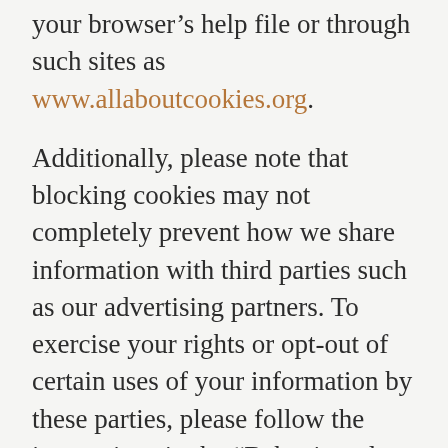your browser's help file or through such sites as www.allaboutcookies.org.
Additionally, please note that blocking cookies may not completely prevent how we share information with third parties such as our advertising partners. To exercise your rights or opt-out of certain uses of your information by these parties, please follow the instructions in the “Behavioural Advertising” section above.
Do Not Track
Please note that because there is no consistent industry understanding of how to respond to “Do Not Track” signals, we do not alter our data